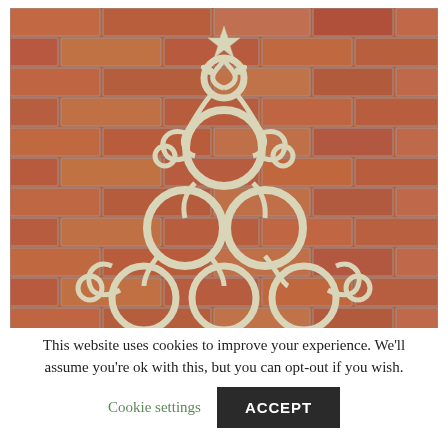[Figure (photo): Photo of a decorative cream/white ornamental Christmas tree cutout made of swirling metalwork, photographed against a red brick wall. The tree design features circular flourishes, curling vines, and a star on top.]
This website uses cookies to improve your experience. We'll assume you're ok with this, but you can opt-out if you wish.
Cookie settings
ACCEPT